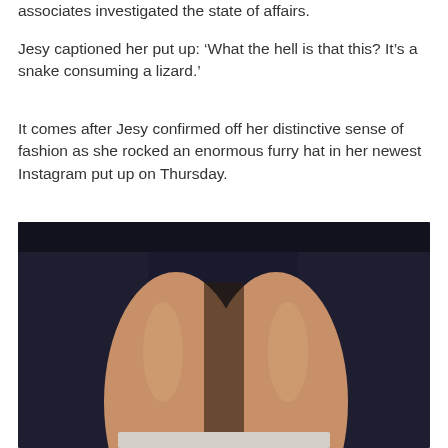associates investigated the state of affairs.
Jesy captioned her put up: ‘What the hell is that this? It’s a snake consuming a lizard.’
It comes after Jesy confirmed off her distinctive sense of fashion as she rocked an enormous furry hat in her newest Instagram put up on Thursday.
[Figure (photo): Close-up photo of a person's bare legs against a dark background, with what appears to be white fabric visible at the bottom.]